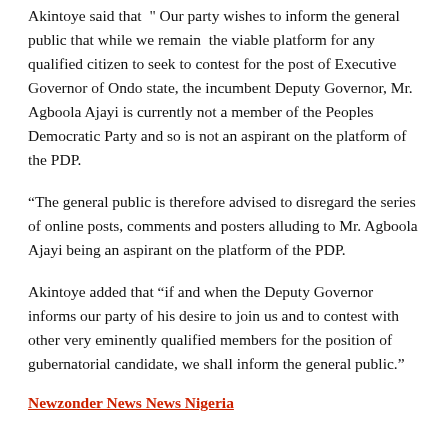Akintoye said that " Our party wishes to inform the general public that while we remain the viable platform for any qualified citizen to seek to contest for the post of Executive Governor of Ondo state, the incumbent Deputy Governor, Mr. Agboola Ajayi is currently not a member of the Peoples Democratic Party and so is not an aspirant on the platform of the PDP.
“The general public is therefore advised to disregard the series of online posts, comments and posters alluding to Mr. Agboola Ajayi being an aspirant on the platform of the PDP.
Akintoye added that “if and when the Deputy Governor informs our party of his desire to join us and to contest with other very eminently qualified members for the position of gubernatorial candidate, we shall inform the general public.”
Newzonder News News Nigeria